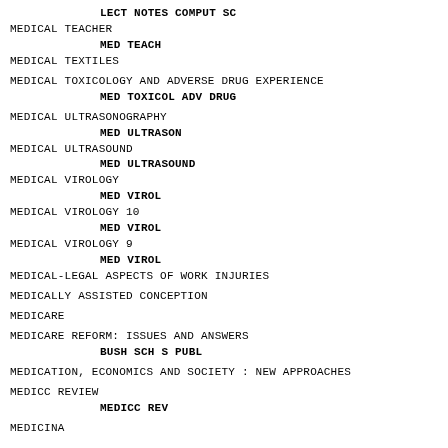LECT NOTES COMPUT SC
MEDICAL TEACHER
    MED TEACH
MEDICAL TEXTILES
MEDICAL TOXICOLOGY AND ADVERSE DRUG EXPERIENCE
    MED TOXICOL ADV DRUG
MEDICAL ULTRASONOGRAPHY
    MED ULTRASON
MEDICAL ULTRASOUND
    MED ULTRASOUND
MEDICAL VIROLOGY
    MED VIROL
MEDICAL VIROLOGY 10
    MED VIROL
MEDICAL VIROLOGY 9
    MED VIROL
MEDICAL-LEGAL ASPECTS OF WORK INJURIES
MEDICALLY ASSISTED CONCEPTION
MEDICARE
MEDICARE REFORM: ISSUES AND ANSWERS
    BUSH SCH S PUBL
MEDICATION, ECONOMICS AND SOCIETY : NEW APPROACHES
MEDICC REVIEW
    MEDICC REV
MEDICINA